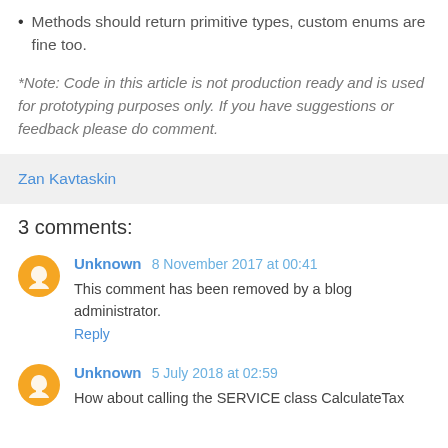Methods should return primitive types, custom enums are fine too.
*Note: Code in this article is not production ready and is used for prototyping purposes only. If you have suggestions or feedback please do comment.
Zan Kavtaskin
3 comments:
Unknown  8 November 2017 at 00:41
This comment has been removed by a blog administrator.
Reply
Unknown  5 July 2018 at 02:59
How about calling the SERVICE class CalculateTax